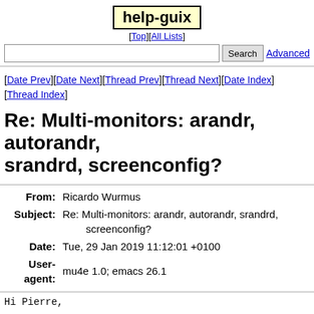help-guix
[Top][All Lists]
Search  Advanced
[Date Prev][Date Next][Thread Prev][Thread Next][Date Index][Thread Index]
Re: Multi-monitors: arandr, autorandr, srandrd, screenconfig?
| Field | Value |
| --- | --- |
| From | Ricardo Wurmus |
| Subject | Re: Multi-monitors: arandr, autorandr, srandrd, screenconfig? |
| Date | Tue, 29 Jan 2019 11:12:01 +0100 |
| User-agent | mu4e 1.0; emacs 26.1 |
Hi Pierre,
> I'm trying to figure out convenient ways to manage mul
> e.g. make profiles, auto-detect configurations, etc.